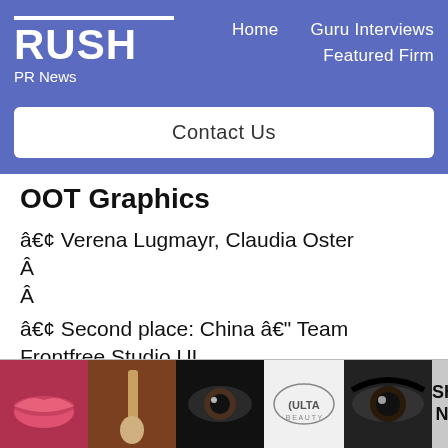RUSH PR News — Home | Guru Interviews | Featured Firm
Contact Us
OOT Graphics
• Verena Lugmayr, Claudia Oster
• Second place: China – Team Frontfree Studio UI
• Dongjing Yao, Yuchi Ma
[Figure (photo): Advertisement banner for Ulta Beauty showing makeup images and SHOP NOW text]